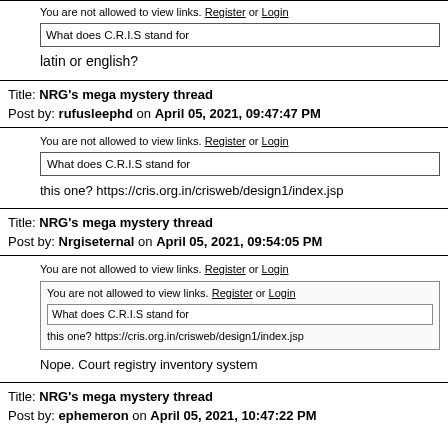You are not allowed to view links. Register or Login
What does C.R.I.S stand for
latin or english?
Title: NRG's mega mystery thread
Post by: rufusleephd on April 05, 2021, 09:47:47 PM
You are not allowed to view links. Register or Login
What does C.R.I.S stand for
this one?  https://cris.org.in/crisweb/design1/index.jsp
Title: NRG's mega mystery thread
Post by: Nrgiseternal on April 05, 2021, 09:54:05 PM
You are not allowed to view links. Register or Login
[You are not allowed to view links. Register or Login
What does C.R.I.S stand for
this one?  https://cris.org.in/crisweb/design1/index.jsp]
Nope. Court registry inventory system
Title: NRG's mega mystery thread
Post by: ephemeron on April 05, 2021, 10:47:22 PM